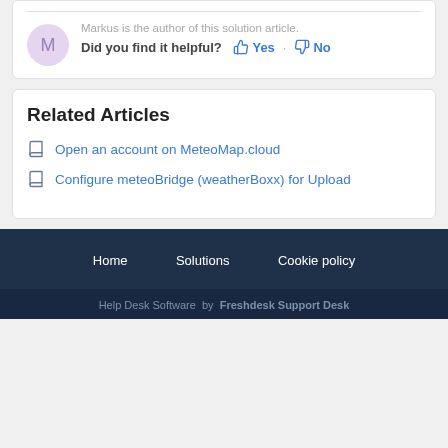Markus is the author of this solution article.
Did you find it helpful? Yes No
Related Articles
Open an account on MeteoMap.cloud
Configure meteoBridge (weatherBoxx) for Upload
Home  Solutions  Cookie policy
Help Desk Software by Freshdesk Support Desk